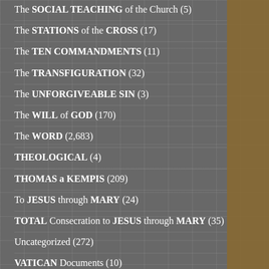The SOCIAL TEACHING of the Church (5)
The STATIONS of the CROSS (17)
The TEN COMMANDMENTS (11)
The TRANSFIGURATION (32)
The UNFORGIVEABLE SIN (3)
The WILL of GOD (170)
The WORD (2,683)
THEOLOGICAL (4)
THOMAS a KEMPIS (209)
To JESUS through MARY (24)
TOTAL Consecration to JESUS through MARY (35)
Uncategorized (272)
VATICAN Documents (10)
VATICAN Documents (101)